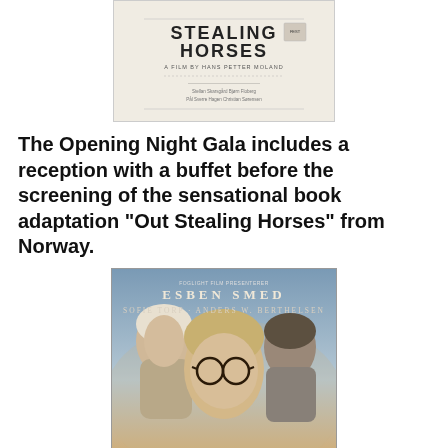[Figure (photo): Movie poster for 'Out Stealing Horses' (Norwegian: 'Ut og stjæle hester') - a film by Hans Petter Moland, showing stylized text on a light beige/cream background with Berlinale festival logo]
The Opening Night Gala includes a reception with a buffet before the screening of the sensational book adaptation “Out Stealing Horses” from Norway.
[Figure (photo): Movie poster for 'Ser du månen Daniel' (Do You See the Moon Daniel) featuring actors Esben Smed, Sofie Torp, and Anders W. Berthelsen against a moody sky background. The title is displayed in large serif letters at the bottom.]